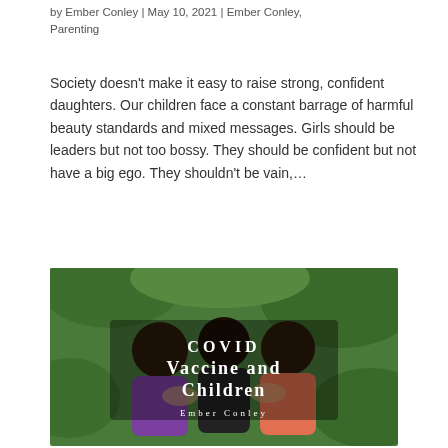by Ember Conley | May 10, 2021 | Ember Conley, Parenting
Society doesn't make it easy to raise strong, confident daughters. Our children face a constant barrage of harmful beauty standards and mixed messages. Girls should be leaders but not too bossy. They should be confident but not have a big ego. They shouldn't be vain,...
[Figure (photo): Photo of three children hugging from behind in front of green foliage, with overlaid text reading 'COVID Vaccine and Children' and 'Ember Conley']